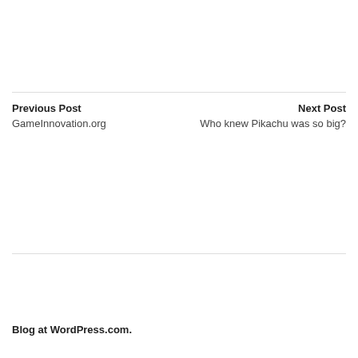Previous Post
GameInnovation.org
Next Post
Who knew Pikachu was so big?
Blog at WordPress.com.